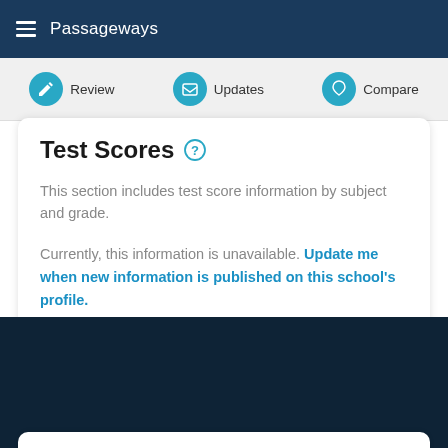Passageways
Review
Updates
Compare
Test Scores
This section includes test score information by subject and grade.
Currently, this information is unavailable. Update me when new information is published on this school's profile.